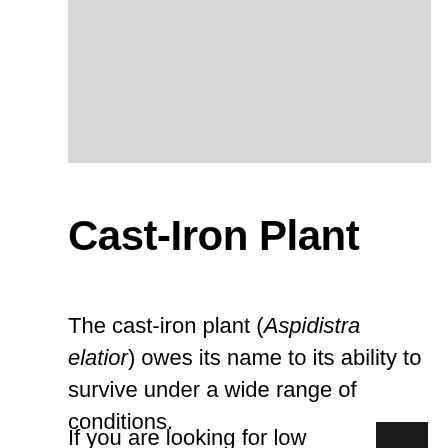[Figure (photo): A light grey rectangular image placeholder at the top of the page, likely a plant photo.]
Cast-Iron Plant
The cast-iron plant (Aspidistra elatior) owes its name to its ability to survive under a wide range of conditions.
If you are looking for low maintenance